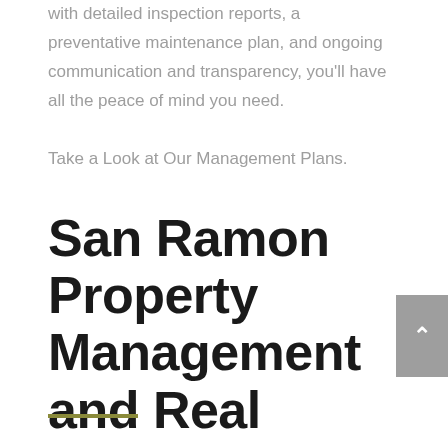with detailed inspection reports, a preventative maintenance plan, and ongoing communication and transparency, you'll have all the peace of mind you need.
Take a Look at Our Management Plans.
San Ramon Property Management and Real Estate Services
[Figure (other): Olive/dark-yellow horizontal decorative line beneath the title]